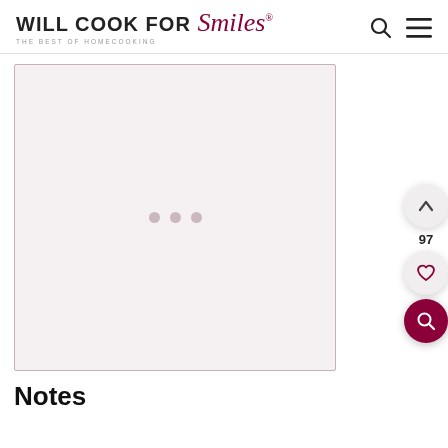WILL COOK FOR Smiles® THE BEST OF HOMECOOKING
[Figure (screenshot): Loading placeholder image area with three dots centered on a light pink/grey background with dark pink border]
Notes